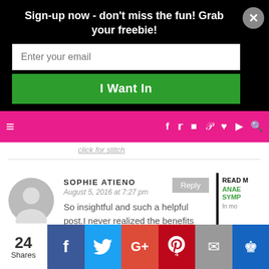Sign-up now - don't miss the fun! Grab your freebie!
[Figure (screenshot): Email signup form with text input field 'Enter your email' and green 'I Want In' button on black background]
[Figure (screenshot): Pink navigation bar with hamburger menu, social icons (facebook, twitter, instagram, pinterest, heart, youtube) and search icon]
click for stitch
SOPHIE ATIENO
August 5, 2016 at 7:27 pm
So insightful and such a helpful post.I never realized the benefits
[Figure (screenshot): Sidebar peek showing READ label with article title starting ANAE SYMP and text starting In mo]
[Figure (screenshot): Bottom social share bar with 24 Shares count, Facebook, Twitter, Google+, Pinterest (4), Email, and crown icon buttons]